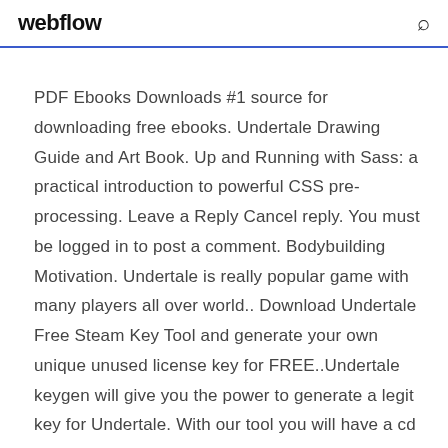webflow
PDF Ebooks Downloads #1 source for downloading free ebooks. Undertale Drawing Guide and Art Book. Up and Running with Sass: a practical introduction to powerful CSS pre-processing. Leave a Reply Cancel reply. You must be logged in to post a comment. Bodybuilding Motivation. Undertale is really popular game with many players all over world.. Download Undertale Free Steam Key Tool and generate your own unique unused license key for FREE..Undertale keygen will give you the power to generate a legit key for Undertale. With our tool you will have a cd key in just a few moments, with just a few clicks.